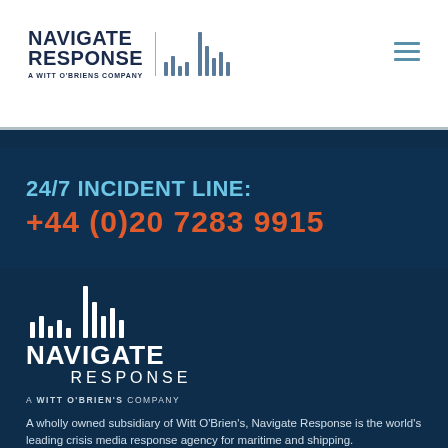NAVIGATE RESPONSE – A WITT O'BRIENS COMPANY
24/7 INCIDENT LINE:
+44 (0)20 7283 9915
[Figure (logo): Navigate Response logo – A Witt O'Brien's Company – with signal bars graphic, white on dark navy background]
A wholly owned subsidiary of Witt O'Brien's, Navigate Response is the world's leading crisis media response agency for maritime and shipping.